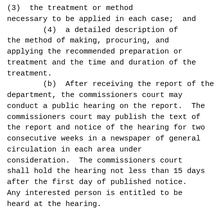(3)  the treatment or method necessary to be applied in each case;  and
        (4)  a detailed description of the method of making, procuring, and applying the recommended preparation or treatment and the time and duration of the treatment.
        (b)  After receiving the report of the department, the commissioners court may conduct a public hearing on the report.  The commissioners court may publish the text of the report and notice of the hearing for two consecutive weeks in a newspaper of general circulation in each area under consideration.  The commissioners court shall hold the hearing not less than 15 days after the first day of published notice.  Any interested person is entitled to be heard at the hearing.